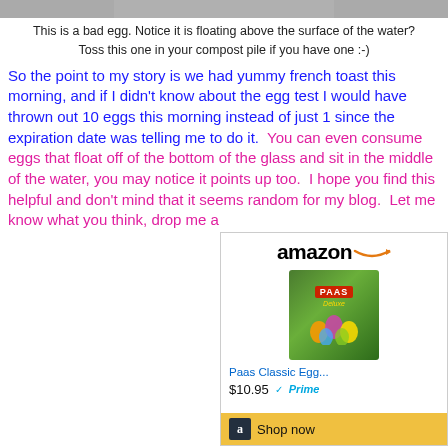This is a bad egg.  Notice it is floating above the surface of the water?  Toss this one in your compost pile if you have one :-)
So the point to my story is we had yummy french toast this morning, and if I didn't know about the egg test I would have thrown out 10 eggs this morning instead of just 1 since the expiration date was telling me to do it.  You can even consume eggs that float off of the bottom of the glass and sit in the middle of the water, you may notice it points up too.  I hope you find this helpful and don't mind that it seems random for my blog.  Let me know what you think, drop me a
[Figure (screenshot): Amazon product widget showing Paas Classic Egg... priced at $10.95 with Prime badge and Shop now button]